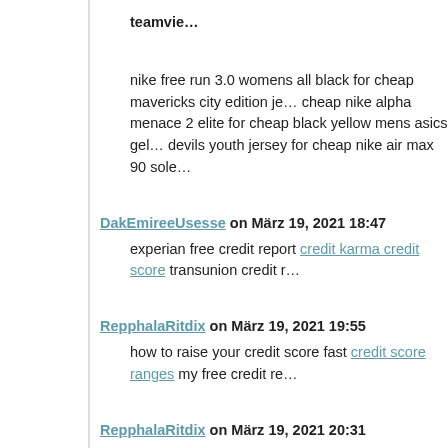teamvie…
nike free run 3.0 womens all black for cheap mavericks city edition je… cheap nike alpha menace 2 elite for cheap black yellow mens asics gel… devils youth jersey for cheap nike air max 90 sole…
DakEmireeUsesse on März 19, 2021 18:47
experian free credit report credit karma credit score transunion credit r…
RepphalaRitdix on März 19, 2021 19:55
how to raise your credit score fast credit score ranges my free credit re…
RepphalaRitdix on März 19, 2021 20:31
boost my credit score https://checkcreditscorewhj.com/ – free credit sc… credit report annual credit score
booneof Baub on März 19, 2021 21:11